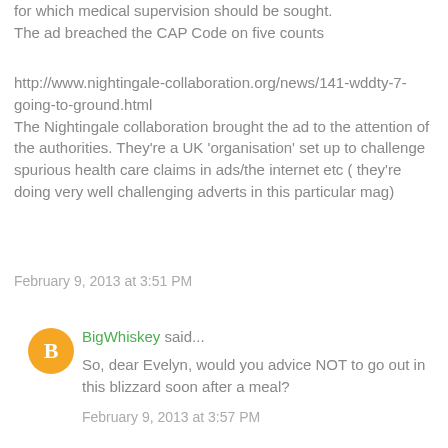for which medical supervision should be sought.
The ad breached the CAP Code on five counts
http://www.nightingale-collaboration.org/news/141-wddty-7-going-to-ground.html
The Nightingale collaboration brought the ad to the attention of the authorities. They're a UK 'organisation' set up to challenge spurious health care claims in ads/the internet etc ( they're doing very well challenging adverts in this particular mag)
February 9, 2013 at 3:51 PM
BigWhiskey said...
So, dear Evelyn, would you advice NOT to go out in this blizzard soon after a meal?
February 9, 2013 at 3:57 PM